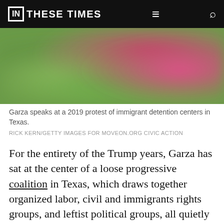IN THESE TIMES
[Figure (photo): Blurred photo of a person speaking at a protest, with green and pink/magenta colors visible in the background.]
Garza speaks at a 2019 protest of immigrant detention centers in Texas.
RICK KERN/GETTY IMAGES FOR MOVEON.ORG CIVIC ACTION
For the entirety of the Trump years, Garza has sat at the center of a loose progressive coalition in Texas, which draws together organized labor, civil and immigrants rights groups, and leftist political groups, all quietly doing the grassroots work of pulling a historically reactionary state into the future. The fact that Texas is now thought of as a plausible swing